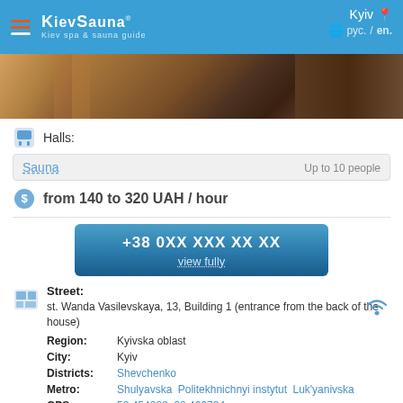KievSauna — Kyiv spa & sauna guide | Kyiv | рус. / en.
[Figure (photo): Sauna interior banner photo showing wooden sauna benches and tiled walls]
Halls:
Sauna   Up to 10 people
from 140 to 320 UAH / hour
+38 0XX XXX XX XX
view fully
Street: st. Wanda Vasilevskaya, 13, Building 1 (entrance from the back of the house)
Region: Kyivska oblast
City: Kyiv
Districts: Shevchenko
Metro: Shulyavska  Politekhnichnyi instytut  Luk'yanivska
GPS: 50.454908, 30.469784